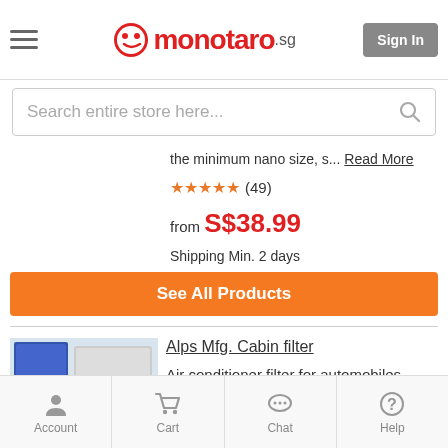monotaro.sg — Sign In
Search entire store here...
the minimum nano size, s... Read More
★★★★★ (49)
from S$38.99
Shipping Min. 2 days
See All Products
Alps Mfg. Cabin filter
Air conditioner filter for automobiles
Type  Dust collection
Account  Cart  Chat  Help